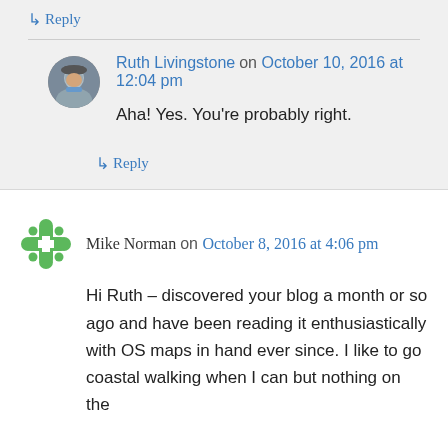↳ Reply
Ruth Livingstone on October 10, 2016 at 12:04 pm
Aha! Yes. You're probably right.
↳ Reply
Mike Norman on October 8, 2016 at 4:06 pm
Hi Ruth – discovered your blog a month or so ago and have been reading it enthusiastically with OS maps in hand ever since. I like to go coastal walking when I can but nothing on the